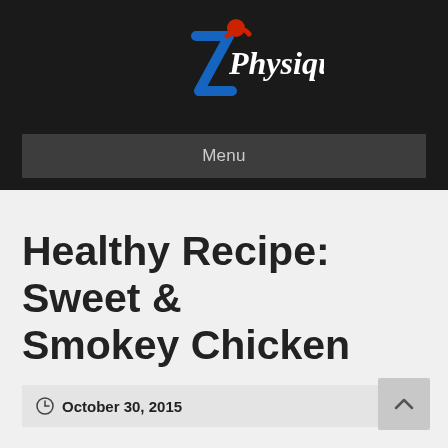[Figure (logo): iPhysique logo with stylized 'i' figure in blue and red, and 'Physique' in white script on black background]
Menu
Healthy Recipe: Sweet & Smokey Chicken
October 30, 2015